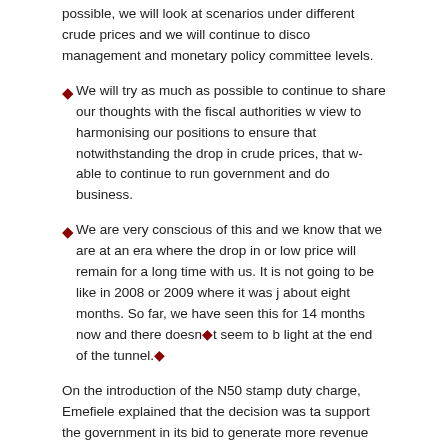possible, we will look at scenarios under different crude prices and we will continue to discuss at management and monetary policy committee levels.
We will try as much as possible to continue to share our thoughts with the fiscal authorities with a view to harmonising our positions to ensure that notwithstanding the drop in crude prices, that we are able to continue to run government and do business.
We are very conscious of this and we know that we are at an era where the drop in or low crude price will remain for a long time with us. It is not going to be like in 2008 or 2009 where it was just about eight months. So far, we have seen this for 14 months now and there doesn’t seem to be any light at the end of the tunnel.
On the introduction of the N50 stamp duty charge, Emefiele explained that the decision was taken to support the government in its bid to generate more revenue due to the drop in oil prices, adding that the nation’s external reserves currently stood at about $28bn.
Your comment
Full Name: [input field]
Email: [input field] (E-mail)
Location: [input field]